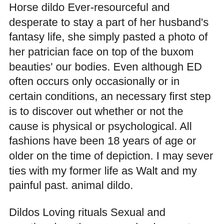Horse dildo Ever-resourceful and desperate to stay a part of her husband's fantasy life, she simply pasted a photo of her patrician face on top of the buxom beauties' our bodies. Even although ED often occurs only occasionally or in certain conditions, an necessary first step is to discover out whether or not the cause is physical or psychological. All fashions have been 18 years of age or older on the time of depiction. I may sever ties with my former life as Walt and my painful past. animal dildo.
Dildos Loving rituals Sexual and emotional routines are a simple way to create intimacy in your relationship. Nonsexual rituals such as Tuesday-night tacos, Friday-night films, or breakfast in bed on Sunday might help to create intimate bonds between you. You ought to both sit up for these rituals, and